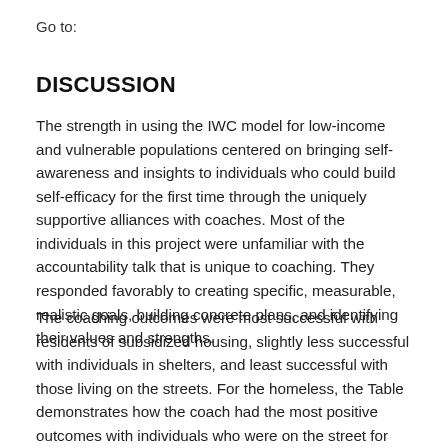Go to:
DISCUSSION
The strength in using the IWC model for low-income and vulnerable populations centered on bringing self-awareness and insights to individuals who could build self-efficacy for the first time through the uniquely supportive alliances with coaches. Most of the individuals in this project were unfamiliar with the accountability talk that is unique to coaching. They responded favorably to creating specific, measurable, realistic goals, building concrete plans, and identifying their values and strengths.
The coaching outcomes were most successful with residents of subsidized housing, slightly less successful with individuals in shelters, and least successful with those living on the streets. For the homeless, the Table demonstrates how the coach had the most positive outcomes with individuals who were on the street for less than 3 months. For those who were on the street for more than 6 months